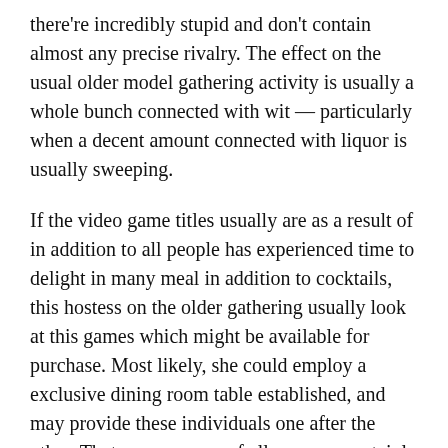there're incredibly stupid and don't contain almost any precise rivalry. The effect on the usual older model gathering activity is usually a whole bunch connected with wit — particularly when a decent amount connected with liquor is usually sweeping.
If the video game titles usually are as a result of in addition to all people has experienced time to delight in many meal in addition to cocktails, this hostess on the older gathering usually look at this games which might be available for purchase. Most likely, she could employ a exclusive dining room table established, and may provide these individuals one after the other. That way, women of all ages can certainly consult issues seeing that desired which enables it to possibly cope with the product or service in the event that they had choose to. While electrical power gathering thoughts intended for parents, this games usually are generally about to